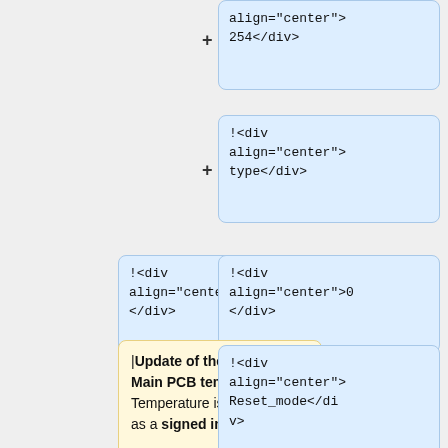[Figure (other): Diff/comparison view of XML/HTML template cells. Top-right blue box shows '+ align="center"> 254</div>'. Second blue box shows '!<div align="center"> type</div>' with + sign. Center-left blue box shows '!<div align="center">0 </div>'. Center-right blue box shows '!<div align="center">0 </div>'. Yellow box (left center) shows '|Update of the Onboard Main PCB temperature. Temperature is represented as a signed integer.' with minus sign. Right blue box shows '!<div align="center"> Reset_mode</div>' with + sign. Bottom-right blue box shows '!<div align="center"> cause</div>' with + sign.]